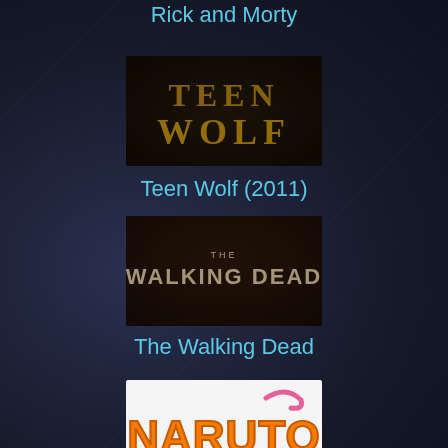Rick and Morty
[Figure (photo): Teen Wolf TV show logo image: gold metallic text on dark background]
Teen Wolf (2011)
[Figure (photo): The Walking Dead TV show logo image: white text on dark brownish background]
The Walking Dead
[Figure (photo): Naruto anime logo: orange bubble letters on white background]